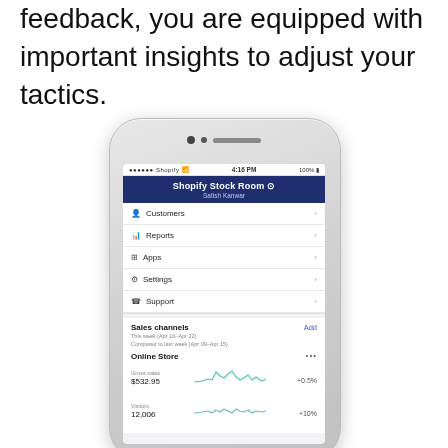feedback, you are equipped with important insights to adjust your tactics.
[Figure (screenshot): iPhone screenshot showing the Shopify Stock Room app (Satish Kanwar) with menu items: Customers, Reports, Apps, Settings, Support. Below is a Sales channels section showing 'This week (Apr 16–Apr 22) Compared to last week (Apr 09–Apr 15)' with Online Store metrics: Gross sales $532.95 +0.5%, Visitors 12,006 +10%.]